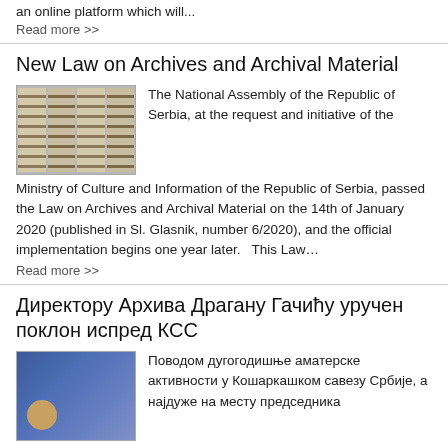an online platform which will...
Read more >>
New Law on Archives and Archival Material
[Figure (photo): Photo of archive shelves with binders/folders]
The National Assembly of the Republic of Serbia, at the request and initiative of the Ministry of Culture and Information of the Republic of Serbia, passed the Law on Archives and Archival Material on the 14th of January 2020 (published in Sl. Glasnik, number 6/2020), and the official implementation begins one year later.   This Law…
Read more >>
Директору Архива Драгану Гачићу уручен поклон испред КСС
[Figure (photo): Photo of people at a basketball federation event, blue backdrop]
Поводом дугогодишње аматерске активности у Кошаркашком савезу Србије, а најдуже на месту председника Скупштине КСС, на изборној Скупштини КСС одржаној 14. децембра 2020. на којој је изабран…
Read more >>
Desanka Mijalković Stambolić, Legator of the